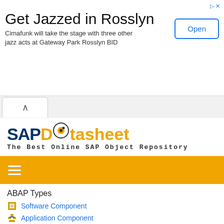[Figure (screenshot): Advertisement banner: 'Get Jazzed in Rosslyn' with text 'Cimafunk will take the stage with three other jazz acts at Gateway Park Rosslyn BID' and an 'Open' button]
[Figure (screenshot): Browser tab bar with back/up arrow chevron tab]
SAP Datasheet — The Best Online SAP Object Repository
[Figure (screenshot): Orange navigation bar with hamburger menu icon]
ABAP Types
Software Component
Application Component
Package
Message Class
IMG Activity
Transaction Code
Program
Function Group